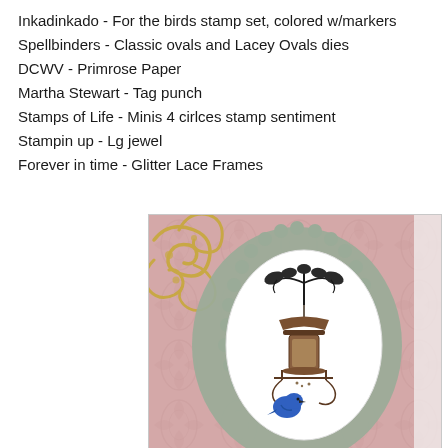Inkadinkado - For the birds stamp set, colored w/markers
Spellbinders - Classic ovals and Lacey Ovals dies
DCWV - Primrose Paper
Martha Stewart - Tag punch
Stamps of Life - Minis 4 cirlces stamp sentiment
Stampin up - Lg jewel
Forever in time - Glitter Lace Frames
[Figure (photo): A handmade greeting card featuring a lacey sage-green oval die-cut frame layered over pink damask patterned paper with a gold scrollwork embellishment in the upper left. In the center of the oval frame is a white oval with a stamped and colored bird feeder image (brown feeder, blue bird perched below), and black leafy branches above.]